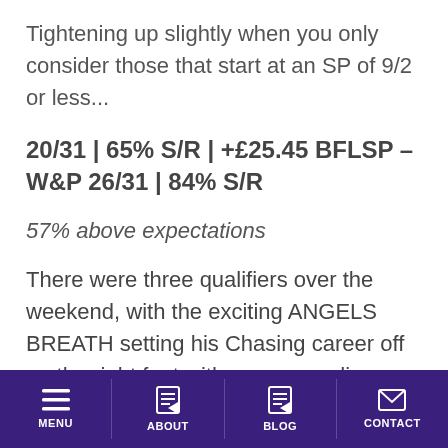Tightening up slightly when you only consider those that start at an SP of 9/2 or less...
20/31 | 65% S/R | +£25.45 BFLSP – W&P 26/31 | 84% S/R
57% above expectations
There were three qualifiers over the weekend, with the exciting ANGELS BREATH setting his Chasing career off on the right foot with a commanding victory on Friday and PYM opening his chase account at the second
MENU  ABOUT  BLOG  CONTACT